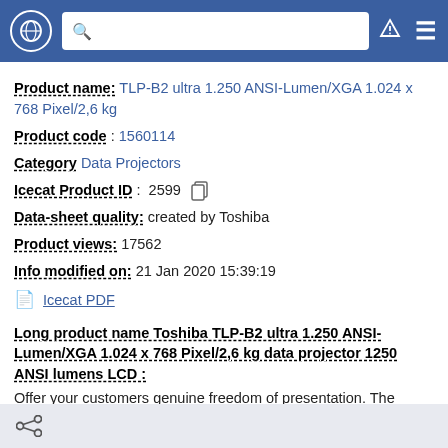Navigation header with globe icon, search bar, filter icon, and menu icon
Product name: TLP-B2 ultra 1.250 ANSI-Lumen/XGA 1.024 x 768 Pixel/2,6 kg
Product code : 1560114
Category Data Projectors
Icecat Product ID : 2599
Data-sheet quality: created by Toshiba
Product views: 17562
Info modified on: 21 Jan 2020 15:39:19
Icecat PDF
Long product name Toshiba TLP-B2 ultra 1.250 ANSI-Lumen/XGA 1.024 x 768 Pixel/2,6 kg data projector 1250 ANSI lumens LCD :
Offer your customers genuine freedom of presentation. The Multitalent TLP B2 ultra provides the ideal solution for mobile
Share icon